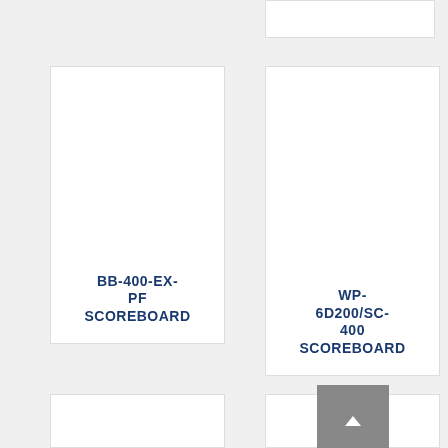[Figure (other): Partial product card at top right, no text visible]
[Figure (other): Product card labeled BB-400-EX-PF SCOREBOARD]
[Figure (other): Product card labeled WP-6D200/SC-400 SCOREBOARD]
[Figure (other): Partial product card at bottom left, no text visible]
[Figure (other): Partial product card at bottom right with back-to-top button (grey square with upward arrow)]